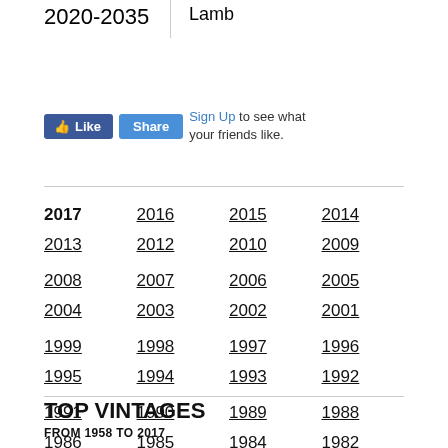| 2020-2035 | Lamb |
[Figure (other): Facebook Like and Share buttons with 'Sign Up to see what your friends like.' text]
2017
2016
2015
2014
2013
2012
2010
2009
2008
2007
2006
2005
2004
2003
2002
2001
1999
1998
1997
1996
1995
1994
1993
1992
1991
1990
1989
1988
1986
1985
1984
1982
1981
1975
1971
1966
1965
1963
1962
1961
1959
1958
TOP VINTAGES
FROM 1958 TO 2017